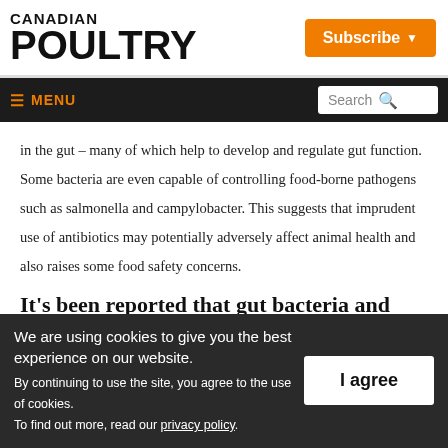CANADIAN POULTRY
Subscribe ▾
≡ MENU   Search 🔍
in the gut – many of which help to develop and regulate gut function. Some bacteria are even capable of controlling food-borne pathogens such as salmonella and campylobacter. This suggests that imprudent use of antibiotics may potentially adversely affect animal health and also raises some food safety concerns.
It's been reported that gut bacteria and
We are using cookies to give you the best experience on our website. By continuing to use the site, you agree to the use of cookies. To find out more, read our privacy policy.
I agree